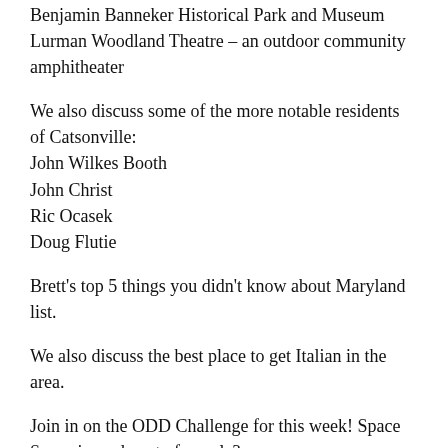Benjamin Banneker Historical Park and Museum Lurman Woodland Theatre – an outdoor community amphitheater
We also discuss some of the more notable residents of Catsonville:
John Wilkes Booth
John Christ
Ric Ocasek
Doug Flutie
Brett's top 5 things you didn't know about Maryland list.
We also discuss the best place to get Italian in the area.
Join in on the ODD Challenge for this week! Space Syrup is made out of people?
Give us a review on ITunes